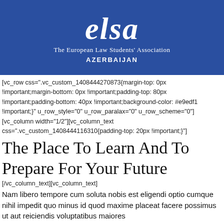[Figure (logo): ELSA - The European Law Students' Association, Azerbaijan logo on blue banner background. White italic serif text 'elsa' in large font, with subtitle 'The European Law Students' Association' and 'AZERBAIJAN' below.]
[vc_row css=".vc_custom_1408444270873{margin-top: 0px !important;margin-bottom: 0px !important;padding-top: 80px !important;padding-bottom: 40px !important;background-color: #e9edf1 !important;}" u_row_style="0" u_row_paralax="0" u_row_scheme="0"][vc_column width="1/2"][vc_column_text css=".vc_custom_1408444116310{padding-top: 20px !important;}"]
The Place To Learn And To Prepare For Your Future
[/vc_column_text][vc_column_text]
Nam libero tempore cum soluta nobis est eligendi optio cumque nihil impedit quo minus id quod maxime placeat facere possimus ut aut reiciendis voluptatibus maiores